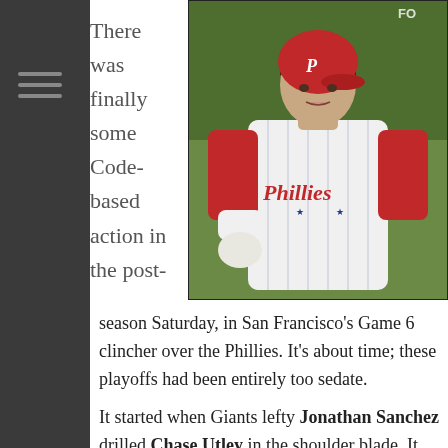[Figure (photo): Baseball player wearing a Philadelphia Phillies uniform and red batting helmet, looking to the side on the field.]
There was finally some Code-based action in the post-season Saturday, in San Francisco's Game 6 clincher over the Phillies. It's about time; these playoffs had been entirely too sedate.
It started when Giants lefty Jonathan Sanchez drilled Chase Utley in the shoulder blade. It was clearly unintentional—there was already a man on first and nobody out in a 2-2 game—but that wasn't